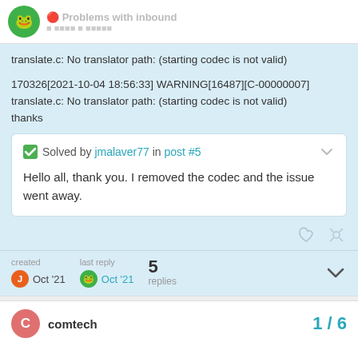Problems with inbound
translate.c: No translator path: (starting codec is not valid)

170326[2021-10-04 18:56:33] WARNING[16487][C-00000007] translate.c: No translator path: (starting codec is not valid)
thanks
Solved by jmalaver77 in post #5

Hello all, thank you. I removed the codec and the issue went away.
created Oct '21   last reply Oct '21   5 replies
comtech   1 / 6